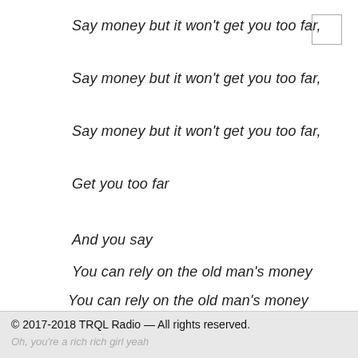Say money but it won't get you too far,
Say money but it won't get you too far,
Say money but it won't get you too far,
Get you too far
And you say
You can rely on the old man's money
You can rely on the old man's money
You're a rich girl, a rich girl
© 2017-2018 TRQL Radio — All rights reserved.
Oh, you're a rich rich girl yeah